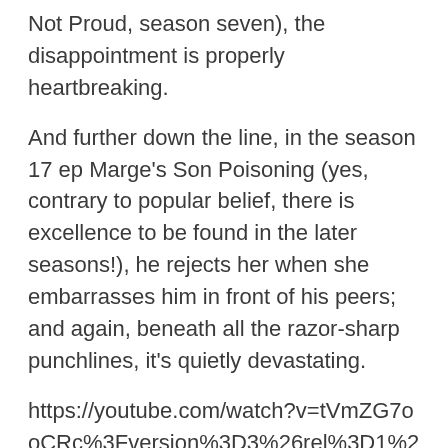Not Proud, season seven), the disappointment is properly heartbreaking.
And further down the line, in the season 17 ep Marge's Son Poisoning (yes, contrary to popular belief, there is excellence to be found in the later seasons!), he rejects her when she embarrasses him in front of his peers; and again, beneath all the razor-sharp punchlines, it's quietly devastating.
https://youtube.com/watch?v=tVmZG7ooCRc%3Fversion%3D3%26rel%3D1%26fs%3D1%26autohide%3D2%26showsearch%3D0%26showinfo%3D1%26iv_load_policy%3D1%26wmode%3Dtransparent
Everything falls apart without her, too: in the season three instalment Homer Alone, she treats herself to a